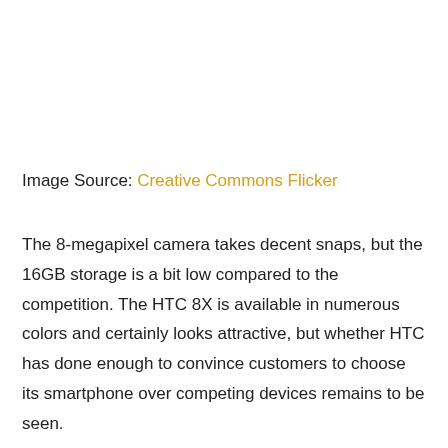Image Source: Creative Commons Flicker
The 8-megapixel camera takes decent snaps, but the 16GB storage is a bit low compared to the competition. The HTC 8X is available in numerous colors and certainly looks attractive, but whether HTC has done enough to convince customers to choose its smartphone over competing devices remains to be seen.